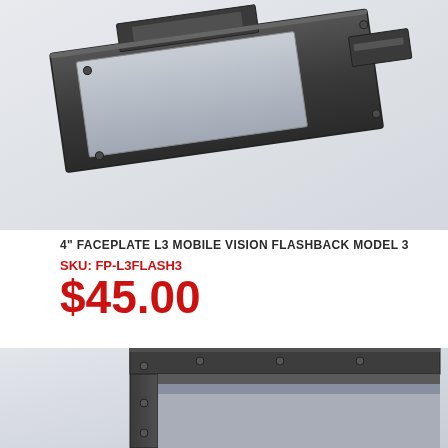[Figure (photo): 3D rendering of a 4-inch faceplate product (L3 Mobile Vision Flashback Model 3), shown at an angle against a light gray background. The part is a dark gray/charcoal metal mounting bracket or faceplate with rectangular opening.]
4" FACEPLATE L3 MOBILE VISION FLASHBACK MODEL 3
SKU: FP-L3FLASH3
$45.00
[Figure (photo): Close-up 3D rendering of a dark gray metal faceplate frame, shown from a lower angle, revealing the rectangular frame structure and mounting details against a light gradient background.]